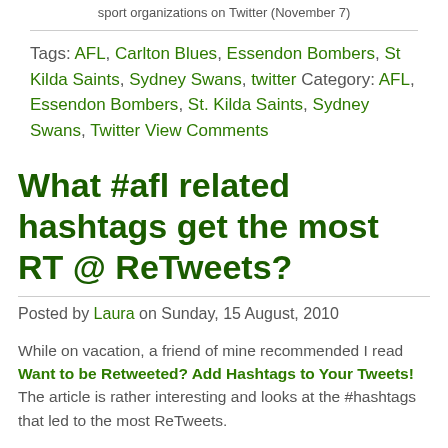sport organizations on Twitter (November 7)
Tags: AFL, Carlton Blues, Essendon Bombers, St Kilda Saints, Sydney Swans, twitter Category: AFL, Essendon Bombers, St. Kilda Saints, Sydney Swans, Twitter View Comments
What #afl related hashtags get the most RT @ ReTweets?
Posted by Laura on Sunday, 15 August, 2010
While on vacation, a friend of mine recommended I read Want to be Retweeted? Add Hashtags to Your Tweets! The article is rather interesting and looks at the #hashtags that led to the most ReTweets.
I have a collection of AFL related tweets that I update semi-